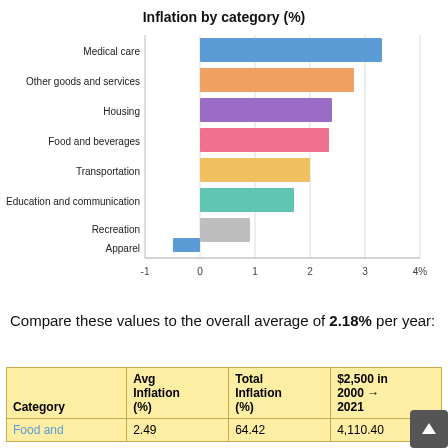[Figure (bar-chart): Inflation by category (%)]
Compare these values to the overall average of 2.18% per year:
| Category | Avg Inflation (%) | Total Inflation (%) | $2,500 in 2000 → 2021 |
| --- | --- | --- | --- |
| Food and | 2.49 | 64.42 | 4,110.40 |